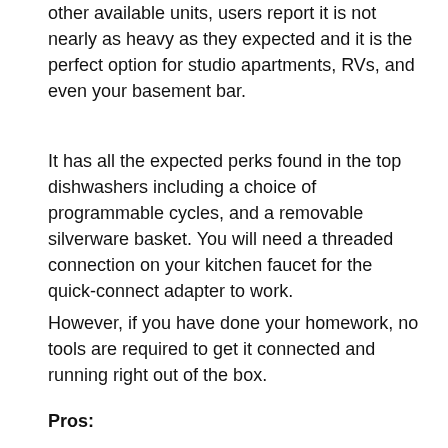other available units, users report it is not nearly as heavy as they expected and it is the perfect option for studio apartments, RVs, and even your basement bar.
It has all the expected perks found in the top dishwashers including a choice of programmable cycles, and a removable silverware basket. You will need a threaded connection on your kitchen faucet for the quick-connect adapter to work.
However, if you have done your homework, no tools are required to get it connected and running right out of the box.
Pros: